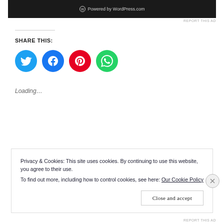[Figure (screenshot): Dark banner showing WordPress.com logo and 'Powered by WordPress.com' text]
REPORT THIS AD
SHARE THIS:
[Figure (infographic): Four social media share buttons: Twitter (blue), Facebook (blue), Pinterest (red), WhatsApp (green)]
Loading...
Privacy & Cookies: This site uses cookies. By continuing to use this website, you agree to their use.
To find out more, including how to control cookies, see here: Our Cookie Policy
Close and accept